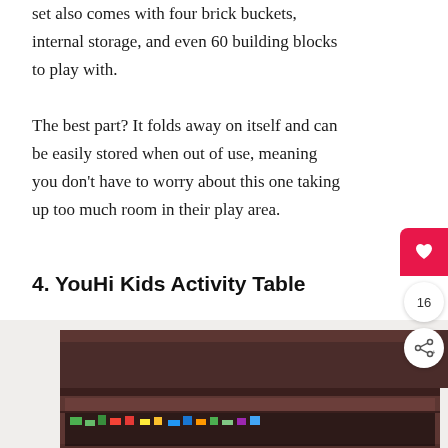set also comes with four brick buckets, internal storage, and even 60 building blocks to play with.
The best part? It folds away on itself and can be easily stored when out of use, meaning you don't have to worry about this one taking up too much room in their play area.
4. YouHi Kids Activity Table
[Figure (photo): Photo of a dark brown wooden kids activity table with a drawer pulled out showing colorful building blocks inside.]